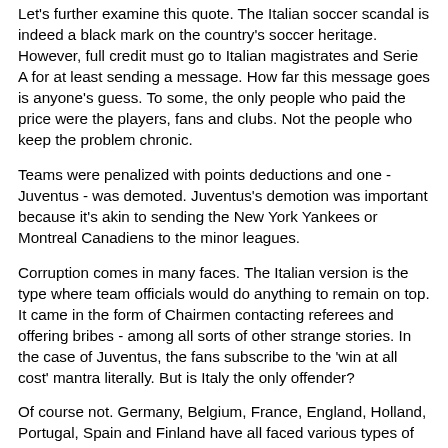Let's further examine this quote. The Italian soccer scandal is indeed a black mark on the country's soccer heritage. However, full credit must go to Italian magistrates and Serie A for at least sending a message. How far this message goes is anyone's guess. To some, the only people who paid the price were the players, fans and clubs. Not the people who keep the problem chronic.
Teams were penalized with points deductions and one - Juventus - was demoted. Juventus's demotion was important because it's akin to sending the New York Yankees or Montreal Canadiens to the minor leagues.
Corruption comes in many faces. The Italian version is the type where team officials would do anything to remain on top. It came in the form of Chairmen contacting referees and offering bribes - among all sorts of other strange stories. In the case of Juventus, the fans subscribe to the 'win at all cost' mantra literally. But is Italy the only offender?
Of course not. Germany, Belgium, France, England, Holland, Portugal, Spain and Finland have all faced various types of corruption in soccer — to name a few. To say this...